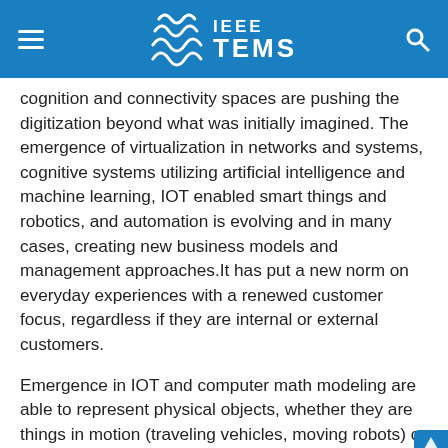IEEE TEMS
cognition and connectivity spaces are pushing the digitization beyond what was initially imagined. The emergence of virtualization in networks and systems, cognitive systems utilizing artificial intelligence and machine learning, IOT enabled smart things and robotics, and automation is evolving and in many cases, creating new business models and management approaches.It has put a new norm on everyday experiences with a renewed customer focus, regardless if they are internal or external customers.
Emergence in IOT and computer math modeling are able to represent physical objects, whether they are things in motion (traveling vehicles, moving robots) or things in process (steams, rising temperature), in virtual cyber-systems, allowing